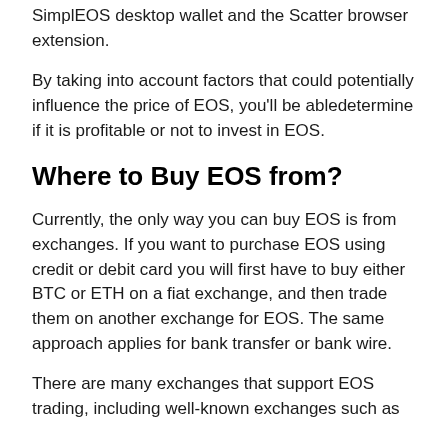SimplEOS desktop wallet and the Scatter browser extension.
By taking into account factors that could potentially influence the price of EOS, you'll be abledetermine if it is profitable or not to invest in EOS.
Where to Buy EOS from?
Currently, the only way you can buy EOS is from exchanges. If you want to purchase EOS using credit or debit card you will first have to buy either BTC or ETH on a fiat exchange, and then trade them on another exchange for EOS. The same approach applies for bank transfer or bank wire.
There are many exchanges that support EOS trading, including well-known exchanges such as